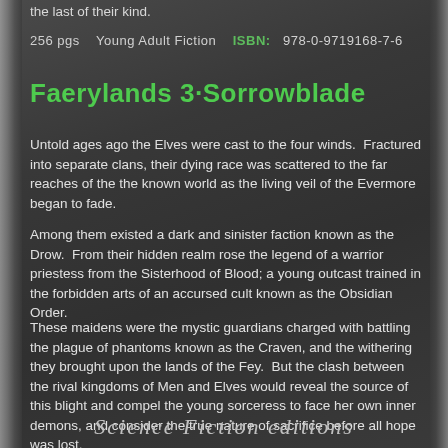the last of their kind.
256 pgs   Young Adult Fiction   ISBN:  978-0-9719168-7-6
Faerylands 3·Sorrowblade
Untold ages ago the Elves were cast to the four winds.  Fractured into separate clans, their dying race was scattered to the far reaches of the the known world as the living veil of the Evermore began to fade.
Among them existed a dark and sinister faction known as the Drow.  From their hidden realm rose the legend of a warrior priestess from the Sisterhood of Blood; a young outcast trained in the forbidden arts of an accursed cult known as the Obsidian Order.
These maidens were the mystic guardians charged with battling the plague of phantoms known as the Craven, and the withering they brought upon the lands of the Fey.  But the clash between the rival kingdoms of Men and Elves would reveal the source of this blight and compel the young sorceress to face her own inner demons, and consider the true nature of sacrifice before all hope was lost.
300 pgs   Young Adult Fiction   ISBN:  978-0-9719168-8-3
Science Fiction editions